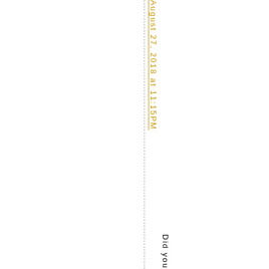August 27, 2018 at 11:15PM
Did you em